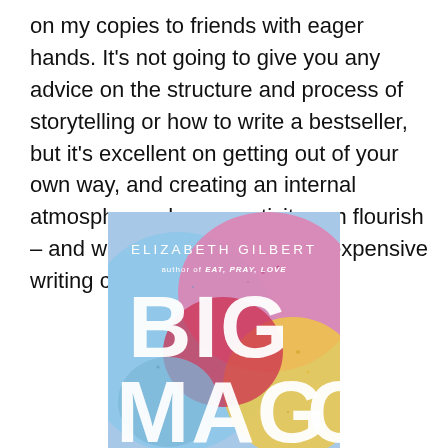on my copies to friends with eager hands. It's not going to give you any advice on the structure and process of storytelling or how to write a bestseller, but it's excellent on getting out of your own way, and creating an internal atmosphere where creativity can flourish – and why you don't need that expensive writing course.
[Figure (illustration): Book cover of 'Big Magic' by Elizabeth Gilbert, author of Eat, Pray, Love. Colorful watercolor-style background with blues, pinks, reds, and yellows. Title 'BIG MAGIC' in large white block letters.]